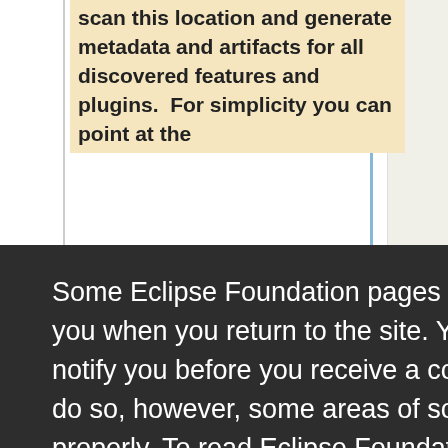scan this location and generate metadata and artifacts for all discovered features and plugins.  For simplicity you can point at the
Some Eclipse Foundation pages use cookies to better serve you when you return to the site. You can set your browser to notify you before you receive a cookie or turn off cookies. If you do so, however, some areas of some sites may not function properly. To read Eclipse Foundation Privacy Policy click here.
contain everything you